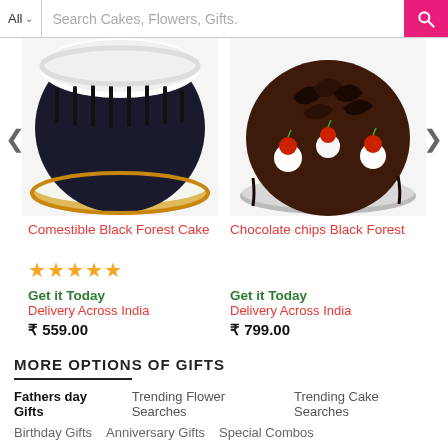All  Search Cakes, Flowers, Gifts.
[Figure (photo): Top portion of a Comestible Black Forest Cake with white cream, black sprinkles, and gold trim]
[Figure (photo): Top portion of a Chocolate chips Black Forest cake with red cherries and chocolate shavings]
Comestible Black Forest Cake
Chocolate chips Black Forest
★★★★★
Get it Today
Delivery Across India
₹ 559.00
Get it Today
Delivery Across India
₹ 799.00
MORE OPTIONS OF GIFTS
Fathers day Gifts
Trending Flower Searches
Trending Cake Searches
Birthday Gifts
Anniversary Gifts
Special Combos